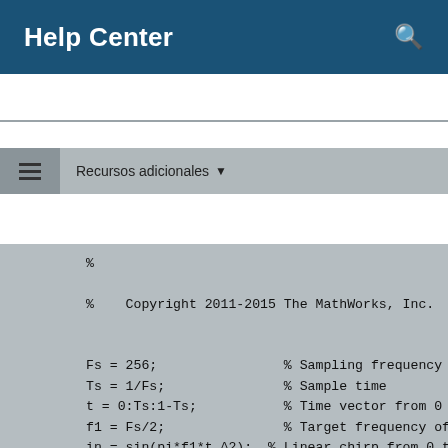Help Center
Recursos adicionales
%

%    Copyright 2011-2015 The MathWorks, Inc.


Fs = 256;                % Sampling frequency
Ts = 1/Fs;               % Sample time
t = 0:Ts:1-Ts;           % Time vector from 0 to
f1 = Fs/2;               % Target frequency of ch
in = sin(pi*f1*t.^2);  % Linear chirp from 0 t
out = zeros(size(in)); % Output the same size a

for ii=1:length(in)
    out(ii) = mlhdlc_df2t_filter(in(ii));
end

% Plot
figure('Name', [mfilename, '_plot']);
subplot(2,1,1);